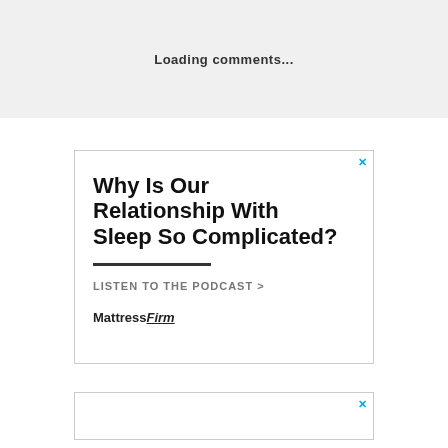Loading comments...
[Figure (other): Advertisement banner: Why Is Our Relationship With Sleep So Complicated? LISTEN TO THE PODCAST > MattressFIRM]
[Figure (other): Second advertisement banner, partially visible]